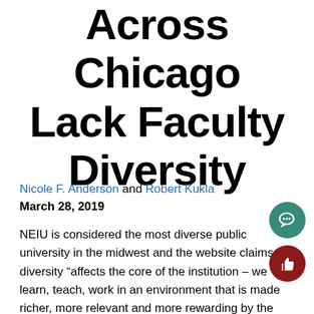Across Chicago Lack Faculty Diversity
Nicole F. Anderson and Robert Kukla
March 28, 2019
NEIU is considered the most diverse public university in the midwest and the website claims the diversity “affects the core of the institution – we learn, teach, work in an environment that is made richer, more relevant and more rewarding by the deeply diverse group of individuals that makes up our University